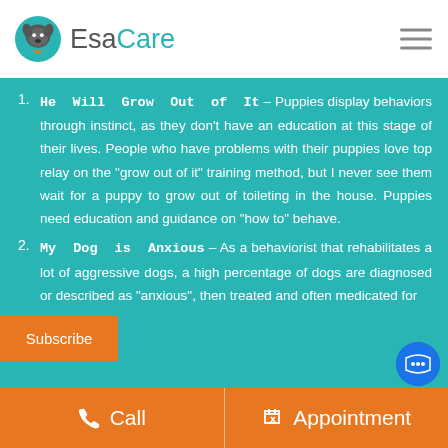EsaCare
He Will Grow Out of It – Puppies display behaviors through instinct, as they don't have an education at this stage of their lives. People who have problems with their puppies love top relay on the "grow out of it" training method, but I never see them wait for a puppy to grow out of toileting in the house. Puppies need education and guidance on "how to" behave.
My Dog is Anxious – As a behaviorist that rehabilitates a lot of aggressive dogs, a high percentage of dogs are diagnosed or described as "anxious", then treated and often medicated for
Call  Appointment